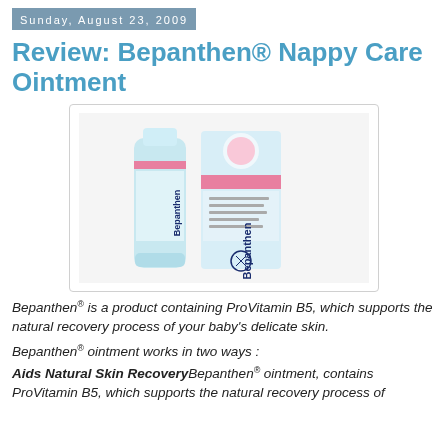Sunday, August 23, 2009
Review: Bepanthen® Nappy Care Ointment
[Figure (photo): Photo of Bepanthen Nappy Care Ointment product — a tube and a box, both light blue and white with Bepanthen branding and Bayer logo]
Bepanthen® is a product containing ProVitamin B5, which supports the natural recovery process of your baby's delicate skin.
Bepanthen® ointment works in two ways :
Aids Natural Skin RecoveryBepanthen® ointment, contains ProVitamin B5, which supports the natural recovery process of